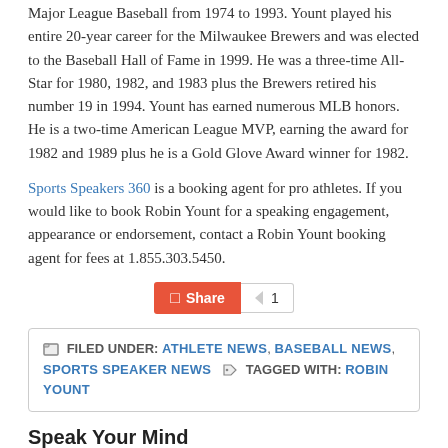Major League Baseball from 1974 to 1993. Yount played his entire 20-year career for the Milwaukee Brewers and was elected to the Baseball Hall of Fame in 1999. He was a three-time All-Star for 1980, 1982, and 1983 plus the Brewers retired his number 19 in 1994. Yount has earned numerous MLB honors. He is a two-time American League MVP, earning the award for 1982 and 1989 plus he is a Gold Glove Award winner for 1982.
Sports Speakers 360 is a booking agent for pro athletes. If you would like to book Robin Yount for a speaking engagement, appearance or endorsement, contact a Robin Yount booking agent for fees at 1.855.303.5450.
[Figure (other): Share button with count of 1]
FILED UNDER: ATHLETE NEWS, BASEBALL NEWS, SPORTS SPEAKER NEWS TAGGED WITH: ROBIN YOUNT
Speak Your Mind
You must be logged in to post a comment.